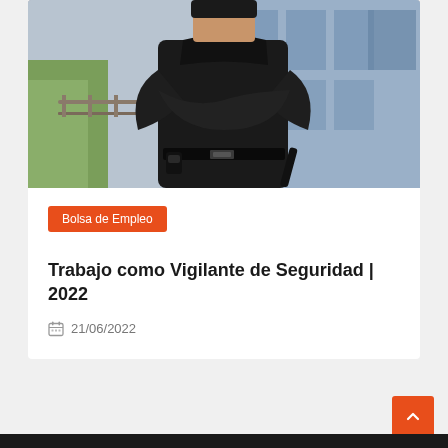[Figure (photo): Security guard dressed in black uniform with arms crossed, standing in front of glass building exterior with railing. Belt with equipment visible.]
Bolsa de Empleo
Trabajo como Vigilante de Seguridad | 2022
21/06/2022